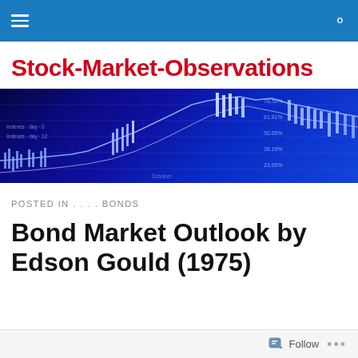Stock-Market-Observations (navigation bar)
Stock-Market-Observations
[Figure (screenshot): Blue financial stock market chart banner with candlestick patterns and percentage grid lines on a dark blue background]
POSTED IN . . . . BONDS
Bond Market Outlook by Edson Gould (1975)
Follow ...